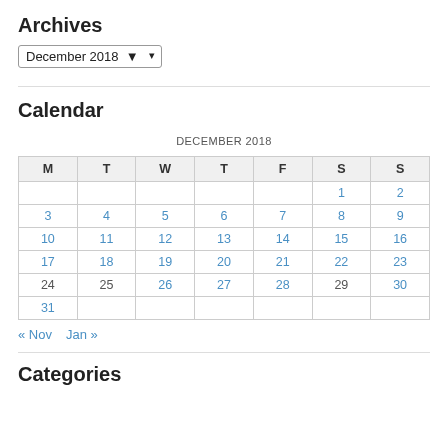Archives
December 2018 ▾
Calendar
| M | T | W | T | F | S | S |
| --- | --- | --- | --- | --- | --- | --- |
|  |  |  |  |  | 1 | 2 |
| 3 | 4 | 5 | 6 | 7 | 8 | 9 |
| 10 | 11 | 12 | 13 | 14 | 15 | 16 |
| 17 | 18 | 19 | 20 | 21 | 22 | 23 |
| 24 | 25 | 26 | 27 | 28 | 29 | 30 |
| 31 |  |  |  |  |  |  |
« Nov   Jan »
Categories